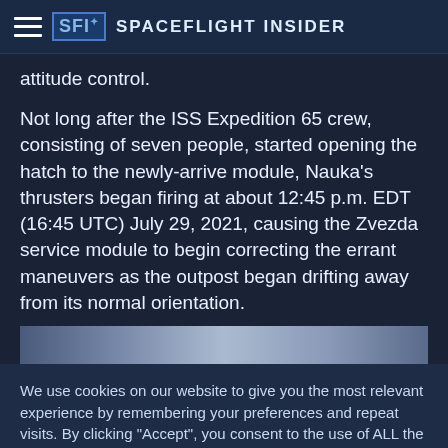Spaceflight Insider
attitude control.
Not long after the ISS Expedition 65 crew, consisting of seven people, started opening the hatch to the newly-arrive module, Nauka’s thrusters began firing at about 12:45 p.m. EDT (16:45 UTC) July 29, 2021, causing the Zvezda service module to begin correcting the errant maneuvers as the outpost began drifting away from its normal orientation.
[Figure (photo): Partial view of a space-related image strip, appears to show a module or spacecraft element against a light background.]
We use cookies on our website to give you the most relevant experience by remembering your preferences and repeat visits. By clicking “Accept”, you consent to the use of ALL the cookies.
Privacy Policy   ACCEPT